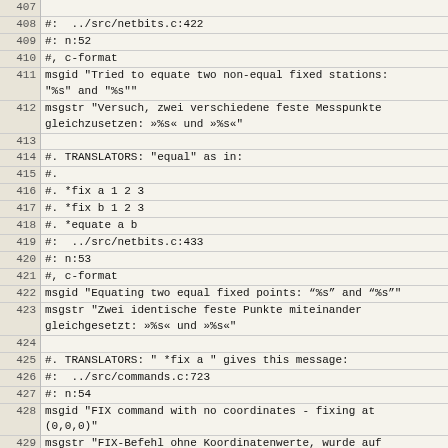| line | code |
| --- | --- |
| 407 |  |
| 408 | #:  ../src/netbits.c:422 |
| 409 | #: n:52 |
| 410 | #, c-format |
| 411 | msgid "Tried to equate two non-equal fixed stations:
"%s" and "%s"" |
| 412 | msgstr "Versuch, zwei verschiedene feste Messpunkte
gleichzusetzen: »%s« und »%s«" |
| 413 |  |
| 414 | #. TRANSLATORS: "equal" as in: |
| 415 | #. |
| 416 | #. *fix a 1 2 3 |
| 417 | #. *fix b 1 2 3 |
| 418 | #. *equate a b |
| 419 | #:  ../src/netbits.c:433 |
| 420 | #: n:53 |
| 421 | #, c-format |
| 422 | msgid "Equating two equal fixed points: “%s” and “%s”" |
| 423 | msgstr "Zwei identische feste Punkte miteinander
gleichgesetzt: »%s« und »%s«" |
| 424 |  |
| 425 | #. TRANSLATORS: " *fix a " gives this message: |
| 426 | #:  ../src/commands.c:723 |
| 427 | #: n:54 |
| 428 | msgid "FIX command with no coordinates - fixing at
(0,0,0)" |
| 429 | msgstr "FIX-Befehl ohne Koordinatenwerte, wurde auf
(0,0,0) gesetzt" |
| 430 |  |
| 431 | #. TRANSLATORS: *fix a 1 2 3 / *fix a 1 2 3 |
| 432 | #:  ../src/commands.c:804 |
| 433 | #:  ../src/datain.c:647 |
| 434 | #: n:55 |